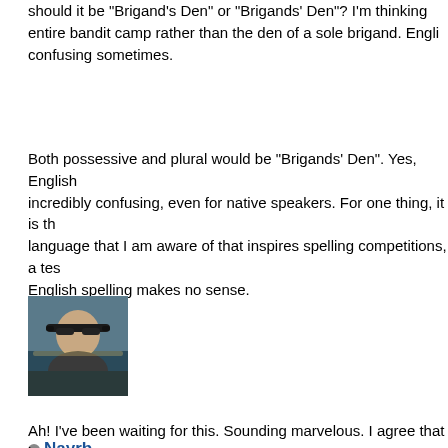should it be "Brigand's Den" or "Brigands' Den"? I'm thinking entire bandit camp rather than the den of a sole brigand. Engli confusing sometimes.
Both possessive and plural would be "Brigands' Den". Yes, English incredibly confusing, even for native speakers. For one thing, it is th language that I am aware of that inspires spelling competitions, a tes English spelling makes no sense.
Website Find
Reply
[Figure (photo): User avatar photo of Nayrb — a man with sunglasses outdoors]
Nayrb
Yuggothian Fungus
★★★
Posts: 584
Threads: 25
Joined: May 2016
Reputation: 1
#4
04-06-2018, 03:23 AM
Ah! I've been waiting for this. Sounding marvelous. I agree that it ca